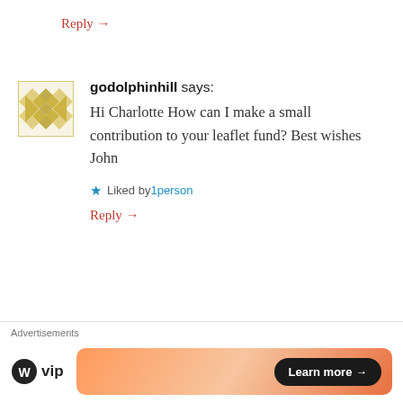Reply →
godolphinhill says:
Hi Charlotte How can I make a small contribution to your leaflet fund? Best wishes John
★ Liked by 1person
Reply →
seercharlotte71 says:
[Figure (screenshot): WordPress VIP advertisement banner with 'Learn more →' button]